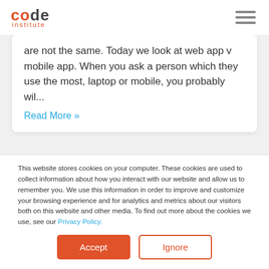code institute
are not the same. Today we look at web app v mobile app. When you ask a person which they use the most, laptop or mobile, you probably wil...
Read More »
This website stores cookies on your computer. These cookies are used to collect information about how you interact with our website and allow us to remember you. We use this information in order to improve and customize your browsing experience and for analytics and metrics about our visitors both on this website and other media. To find out more about the cookies we use, see our Privacy Policy.
Accept
Ignore